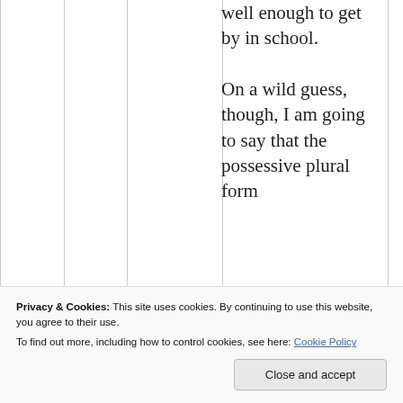well enough to get by in school.

On a wild guess, though, I am going to say that the possessive plural form of all b...
Privacy & Cookies: This site uses cookies. By continuing to use this website, you agree to their use. To find out more, including how to control cookies, see here: Cookie Policy
Close and accept
people